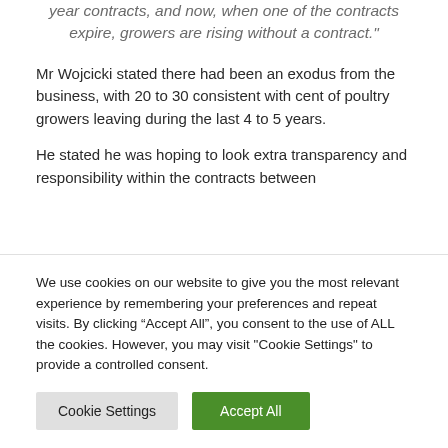year contracts, and now, when one of the contracts expire, growers are rising without a contract."
Mr Wojcicki stated there had been an exodus from the business, with 20 to 30 consistent with cent of poultry growers leaving during the last 4 to 5 years.
He stated he was hoping to look extra transparency and responsibility within the contracts between
We use cookies on our website to give you the most relevant experience by remembering your preferences and repeat visits. By clicking “Accept All”, you consent to the use of ALL the cookies. However, you may visit "Cookie Settings" to provide a controlled consent.